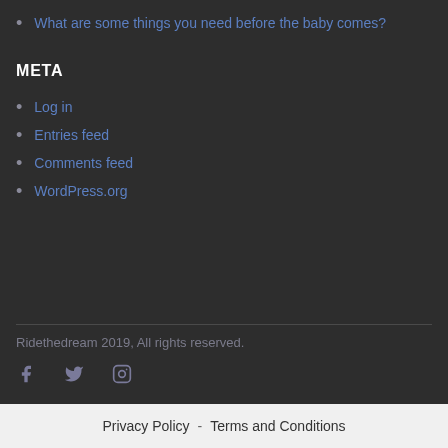What are some things you need before the baby comes?
META
Log in
Entries feed
Comments feed
WordPress.org
Ridethedream 2019, All rights reserved.
Privacy Policy - Terms and Conditions